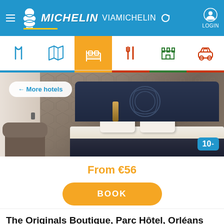[Figure (screenshot): VIA Michelin website top navigation bar with blue background, Michelin logo (Bibendum mascot), MICHELIN VIAMICHELIN text, refresh icon, and LOGIN button]
[Figure (infographic): Navigation icon bar with 6 icons: route/fork (blue), map (blue), bed/hotel (orange active tab), fork/knife (red), castle (green), car (red)]
[Figure (photo): Hotel room interior photo showing a large bed with white pillows, dark decorative headboard with floral carving pattern, patterned wallpaper, bedside lamps, and an armchair in the foreground. Badge showing '10' in bottom right corner.]
← More hotels
From €56
BOOK
The Originals Boutique, Parc Hôtel, Orléans